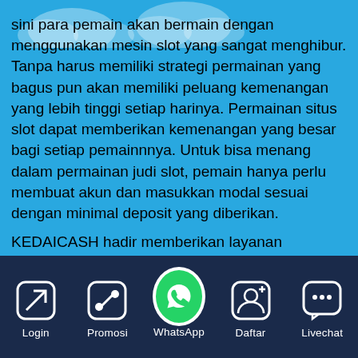[Figure (screenshot): Mobile website screenshot with blue background and cloud decorations at top]
sini para pemain akan bermain dengan menggunakan mesin slot yang sangat menghibur. Tanpa harus memiliki strategi permainan yang bagus pun akan memiliki peluang kemenangan yang lebih tinggi setiap harinya. Permainan situs slot dapat memberikan kemenangan yang besar bagi setiap pemainnnya. Untuk bisa menang dalam permainan judi slot, pemain hanya perlu membuat akun dan masukkan modal sesuai dengan minimal deposit yang diberikan.

KEDAICASH hadir memberikan layanan permainan judi slot online dengan kualitas terbaik. Ratusan jenis
Login | Promosi | WhatsApp | Daftar | Livechat